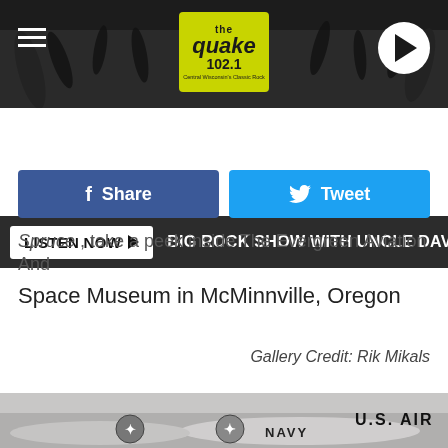[Figure (screenshot): The Quake 102.1 radio station website header with crowd background, logo, hamburger menu, and play button]
LISTEN NOW ▶  BIG ROCK SHOW WITH UNCLE DAVE
[Figure (screenshot): Facebook Share and Twitter Tweet social media buttons]
Spruce , take a peek inside The Evergreen Aviation And Space Museum in McMinnville, Oregon
Gallery Credit: Rik Mikals
[Figure (photo): Interior of Evergreen Aviation and Space Museum showing aircraft with NAVY markings and U.S. AIR text visible]
[Figure (screenshot): Spectrum Enterprise advertisement overlay with 'What you nee' text visible]